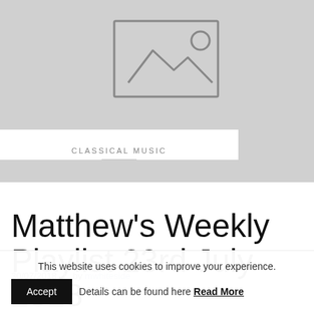[Figure (illustration): Gray placeholder image with mountain/landscape icon and circle (image not loaded)]
CLASSICAL MUSIC
Matthew's Weekly Playlist 23rd July 2018
30/07/2018  |  by mwhiteside
This website uses cookies to improve your experience. Accept  Details can be found here Read More